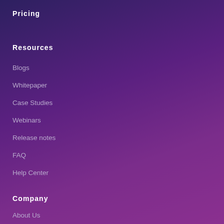Pricing
Resources
Blogs
Whitepaper
Case Studies
Webinars
Release notes
FAQ
Help Center
Company
About Us
Jobs
Contact Us